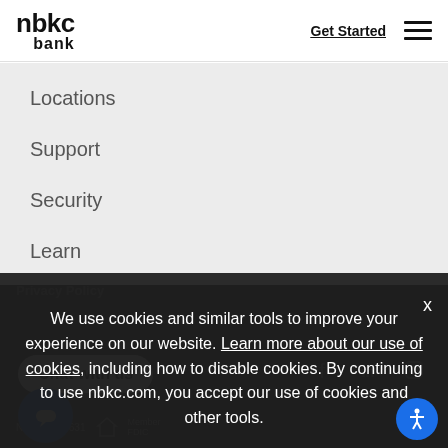nbkc bank
Get Started
Locations
Support
Security
Learn
Contact
Privacy Policy
Chat with us
We use cookies and similar tools to improve your experience on our website. Learn more about our use of cookies, including how to disable cookies. By continuing to use nbkc.com, you accept our use of cookies and other tools.
NMLS# 409631
Member FDIC